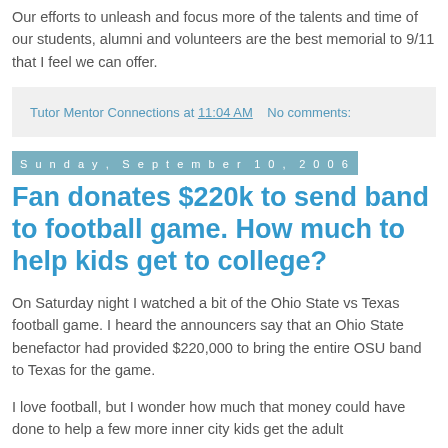Our efforts to unleash and focus more of the talents and time of our students, alumni and volunteers are the best memorial to 9/11 that I feel we can offer.
Tutor Mentor Connections at 11:04 AM   No comments:
Sunday, September 10, 2006
Fan donates $220k to send band to football game. How much to help kids get to college?
On Saturday night I watched a bit of the Ohio State vs Texas football game. I heard the announcers say that an Ohio State benefactor had provided $220,000 to bring the entire OSU band to Texas for the game.
I love football, but I wonder how much that money could have done to help a few more inner city kids get the adult